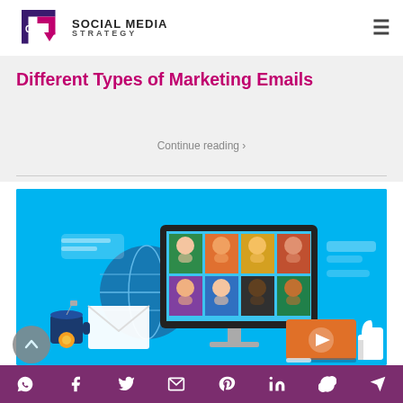C180 SOCIAL MEDIA STRATEGY
Different Types of Marketing Emails
Continue reading ›
[Figure (illustration): Flat illustration on blue background showing a computer monitor displaying a social media grid of people portraits, with a globe, email envelope, coffee cup with orange, video play button on orange rectangle, and a thumbs-up icon]
Social share icons: WhatsApp, Facebook, Twitter, Email, Pinterest, LinkedIn, Skype, Telegram